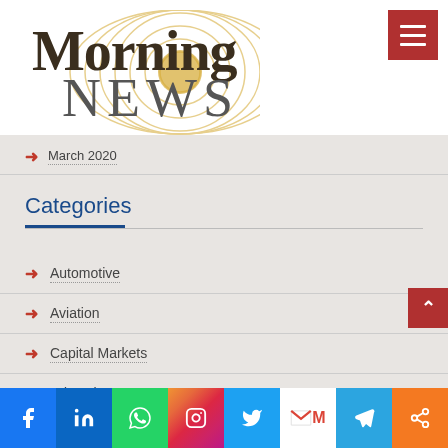[Figure (logo): Morning NEWS logo with concentric gold circles background, olive/dark serif 'Morning' and gray 'NEWS' text]
March 2020
Categories
Automotive
Aviation
Capital Markets
Education